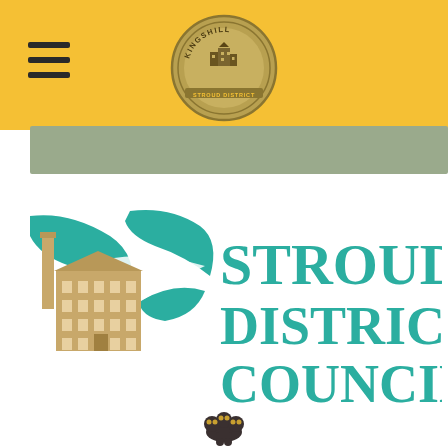[Figure (logo): Yellow header bar with hamburger menu icon on the left and Kingshill circular seal/badge logo centered]
[Figure (illustration): Sage green decorative band below the yellow header]
[Figure (logo): Stroud District Council logo: mill building illustration with teal ribbon/wave graphic on the left, and 'STROUD DISTRICT COUNCIL' text in large teal bold serif letters on the right]
[Figure (logo): Small dark heraldic crest/coat of arms icon at the bottom center of the page]